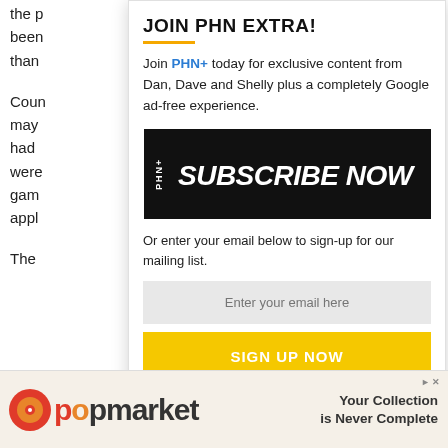the p
been
than

Coun
may
had
were
gam
appl

The
JOIN PHN EXTRA!
Join PHN+ today for exclusive content from Dan, Dave and Shelly plus a completely Google ad-free experience.
[Figure (infographic): PHN+ Subscribe Now banner - black background with PHN+ badge on left, large white italic text 'SUBSCRIBE NOW', and subtitle 'FOR EXCLUSIVE INSIGHT AND ANALYSIS FROM DAN KINGERSKI & SHELLY ANDERSON']
Or enter your email below to sign-up for our mailing list.
Enter your email here
SIGN UP NOW
[Figure (infographic): Popmarket advertisement banner with red/orange logo and text 'Your Collection is Never Complete']